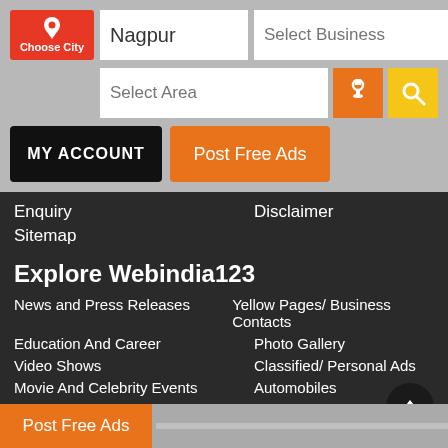[Figure (screenshot): Choose City button with location pin icon and red background]
Nagpur
Select Business
Select Area
MY ACCOUNT
Post Free Ads
Enquiry
Disclaimer
Sitemap
Explore Webindia123
News and Press Releases
Yellow Pages/ Business Contacts
Education And Career
Photo Gallery
Video Shows
Classified/ Personal Ads
Movie And Celebrity Events
Automobiles
Deals And Discounts
Realestate/ Properties for s
Post Free Ads